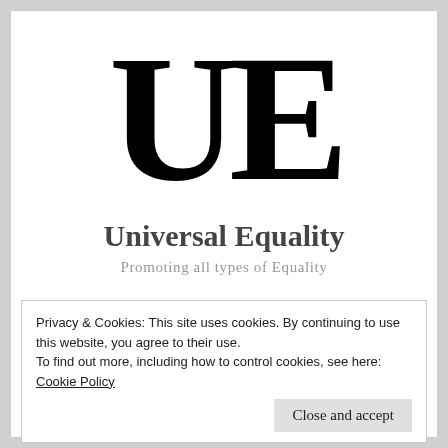[Figure (logo): Large bold serif letters 'UE' forming the logo of Universal Equality]
Universal Equality
Promoting all types of Equality
Privacy & Cookies: This site uses cookies. By continuing to use this website, you agree to their use.
To find out more, including how to control cookies, see here: Cookie Policy
Close and accept